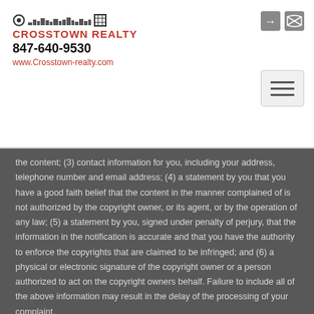CROSSTOWN REALTY | 847-640-9530 | www.Crosstown-realty.com
the content; (3) contact information for you, including your address, telephone number and email address; (4) a statement by you that you have a good faith belief that the content in the manner complained of is not authorized by the copyright owner, or its agent, or by the operation of any law; (5) a statement by you, signed under penalty of perjury, that the information in the notification is accurate and that you have the authority to enforce the copyrights that are claimed to be infringed; and (6) a physical or electronic signature of the copyright owner or a person authorized to act on the copyright owners behalf. Failure to include all of the above information may result in the delay of the processing of your complaint.
Copyright © 2022 Midwest Real Estate Data LLC. Data is updated as